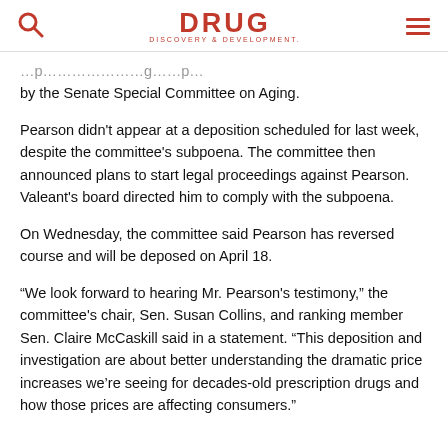DRUG DISCOVERY & DEVELOPMENT
by the Senate Special Committee on Aging.
Pearson didn't appear at a deposition scheduled for last week, despite the committee's subpoena. The committee then announced plans to start legal proceedings against Pearson. Valeant's board directed him to comply with the subpoena.
On Wednesday, the committee said Pearson has reversed course and will be deposed on April 18.
“We look forward to hearing Mr. Pearson's testimony,” the committee's chair, Sen. Susan Collins, and ranking member Sen. Claire McCaskill said in a statement. “This deposition and investigation are about better understanding the dramatic price increases we’re seeing for decades-old prescription drugs and how those prices are affecting consumers.”